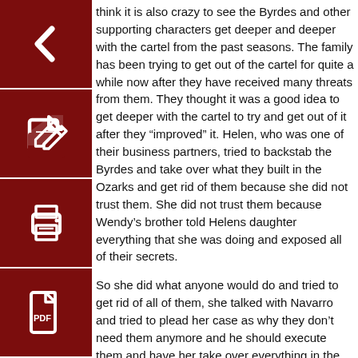think it is also crazy to see the Byrdes and other supporting characters get deeper and deeper with the cartel from the past seasons. The family has been trying to get out of the cartel for quite a while now after they have received many threats from them. They thought it was a good idea to get deeper with the cartel to try and get out of it after they “improved” it. Helen, who was one of their business partners, tried to backstab the Byrdes and take over what they built in the Ozarks and get rid of them because she did not trust them. She did not trust them because Wendy’s brother told Helens daughter everything that she was doing and exposed all of their secrets.
So she did what anyone would do and tried to get rid of all of them, she talked with Navarro and tried to plead her case as why they don’t need them anymore and he should execute them and have her take over everything in the Ozarks. They then got on a private plane to meet Navarro for the first time and they thought they were finished. What ended up happening was Navarro killed Helen and then they were now his main people of the money part of the whole operation and they went even deeper when they were trying to get out of it.
I think the writers of this show once again did a great job and were very smart with only releasing part one of the new season. I watched the whole season in two days, which was seven